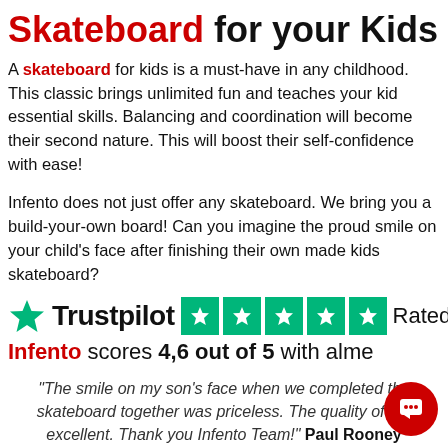Skateboard for your Kids
A skateboard for kids is a must-have in any childhood. This classic brings unlimited fun and teaches your kid essential skills. Balancing and coordination will become their second nature. This will boost their self-confidence with ease!
Infento does not just offer any skateboard. We bring you a build-your-own board! Can you imagine the proud smile on your child's face after finishing their own made kids skateboard?
[Figure (logo): Trustpilot logo with green star, followed by five green star rating boxes, and the word Rated]
Infento scores 4,6 out of 5 with alme
"The smile on my son’s face when we completed the skateboard together was priceless. The quality of the excellent. Thank you Infento Team!" Paul Rooney